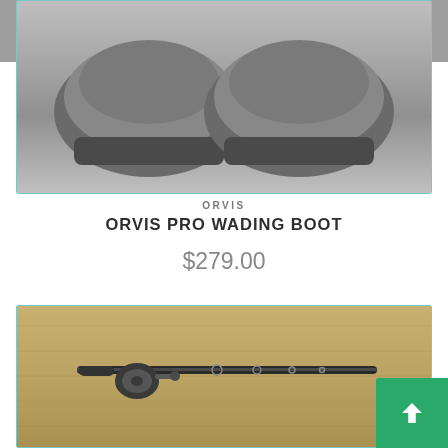FlyMasters of Indianapolis
[Figure (photo): Top portion of Orvis Pro Wading Boot product image showing the boot soles against a gray background, inside a teal-bordered card]
ORVIS
ORVIS PRO WADING BOOT
$279.00
[Figure (photo): Product image of a fishing rod or similar gear against a wood-grain background, inside a teal-bordered card]